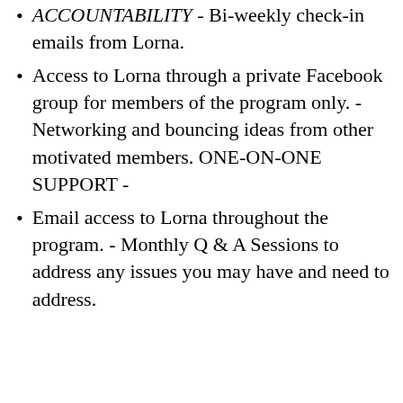ACCOUNTABILITY - Bi-weekly check-in emails from Lorna.
Access to Lorna through a private Facebook group for members of the program only. -Networking and bouncing ideas from other motivated members. ONE-ON-ONE SUPPORT -
Email access to Lorna throughout the program. - Monthly Q & A Sessions to address any issues you may have and need to address.